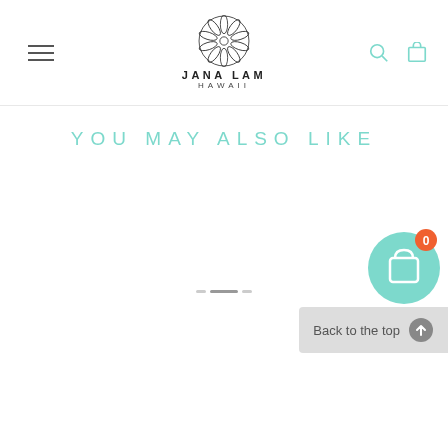JANA LAM HAWAII
YOU MAY ALSO LIKE
[Figure (screenshot): Shopping cart bubble icon with teal background and orange badge showing 0]
Back to the top